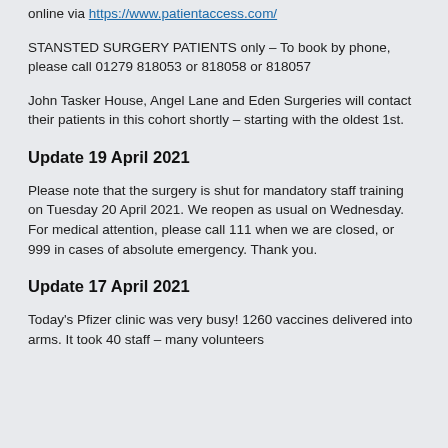online via https://www.patientaccess.com/
STANSTED SURGERY PATIENTS only – To book by phone, please call 01279 818053 or 818058 or 818057
John Tasker House, Angel Lane and Eden Surgeries will contact their patients in this cohort shortly – starting with the oldest 1st.
Update 19 April 2021
Please note that the surgery is shut for mandatory staff training on Tuesday 20 April 2021. We reopen as usual on Wednesday. For medical attention, please call 111 when we are closed, or 999 in cases of absolute emergency. Thank you.
Update 17 April 2021
Today's Pfizer clinic was very busy! 1260 vaccines delivered into arms. It took 40 staff – many volunteers